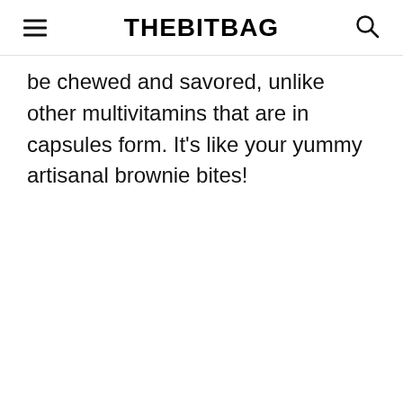THEBITBAG
be chewed and savored, unlike other multivitamins that are in capsules form. It’s like your yummy artisanal brownie bites!